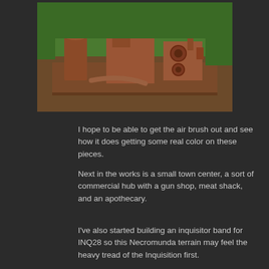[Figure (photo): A rust-colored miniature industrial terrain piece for tabletop gaming (Necromunda), featuring tanks, pipes, and mechanical structures on a flat base, photographed outdoors on grass.]
I hope to be able to get the air brush out and see how it does getting some real color on these pieces.
Next in the works is a small town center, a sort of commercial hub with a gun shop, meat shack, and an apothecary.
I've also started building an inquisitor band for INQ28 so this Necromunda terrain may feel the heavy tread of the Inquisition first.